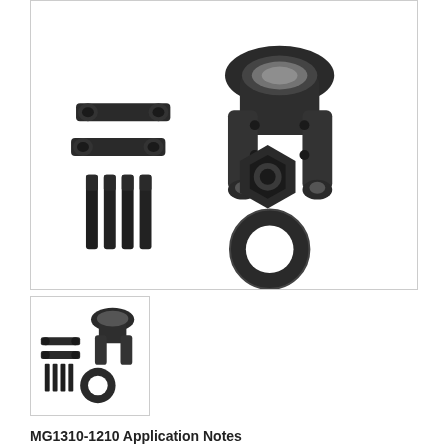[Figure (photo): Product photo showing a yoke kit with main yoke component, two U-bolt straps, a hex nut, four bolts, and a washer on white background]
[Figure (photo): Thumbnail product photo of the same yoke kit components at smaller scale]
MG1310-1210 Application Notes
Warranty